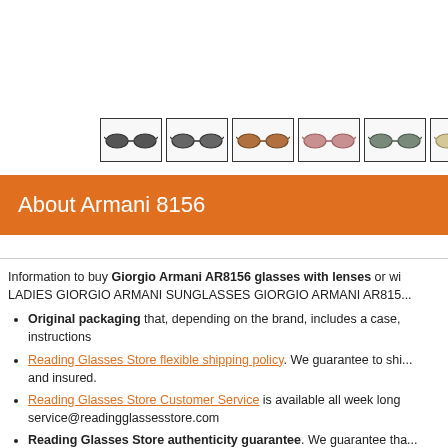[Figure (photo): Six thumbnail images of Giorgio Armani AR8156 sunglasses in different colors: dark grey/black, dark grey, brown/tortoise, pink/rose, grey-green, and beige/gold]
About Armani 8156
Information to buy Giorgio Armani AR8156 glasses with lenses or wi... LADIES GIORGIO ARMANI SUNGLASSES GIORGIO ARMANI AR815...
Original packaging that, depending on the brand, includes a case, instructions
Reading Glasses Store flexible shipping policy. We guarantee to shi... and insured.
Reading Glasses Store Customer Service is available all week long service@readingglassesstore.com
Reading Glasses Store authenticity guarantee. We guarantee tha... will find a 100% match.
Prescription Lenses with Giorgio Armani AR8156 are optional. Buy ...